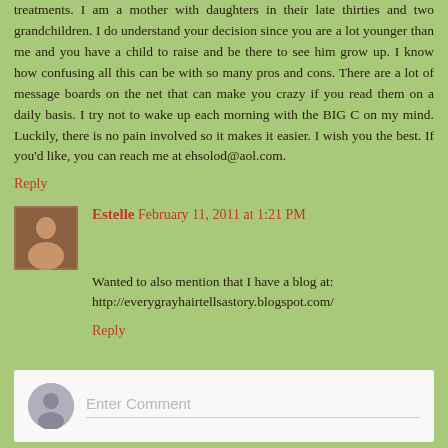treatments. I am a mother with daughters in their late thirties and two grandchildren. I do understand your decision since you are a lot younger than me and you have a child to raise and be there to see him grow up. I know how confusing all this can be with so many pros and cons. There are a lot of message boards on the net that can make you crazy if you read them on a daily basis. I try not to wake up each morning with the BIG C on my mind. Luckily, there is no pain involved so it makes it easier. I wish you the best. If you'd like, you can reach me at ehsolod@aol.com.
Reply
Estelle February 11, 2011 at 1:21 PM
Wanted to also mention that I have a blog at: http://everygrayhairtellsastory.blogspot.com/
Reply
Enter Comment